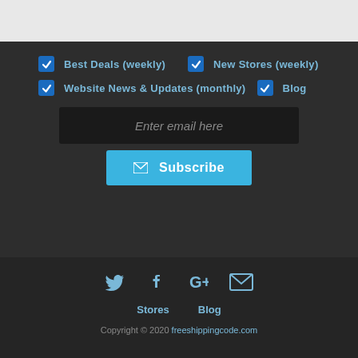Best Deals (weekly)
New Stores (weekly)
Website News & Updates (monthly)
Blog
Enter email here
Subscribe
[Figure (infographic): Social media icons: Twitter, Facebook, Google+, Email]
Stores  Blog
Copyright © 2020 freeshippingcode.com